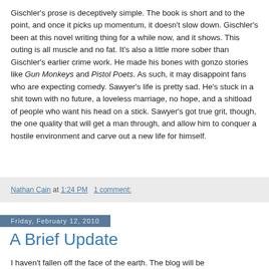Gischler's prose is deceptively simple. The book is short and to the point, and once it picks up momentum, it doesn't slow down. Gischler's been at this novel writing thing for a while now, and it shows. This outing is all muscle and no fat. It's also a little more sober than Gischler's earlier crime work. He made his bones with gonzo stories like Gun Monkeys and Pistol Poets. As such, it may disappoint fans who are expecting comedy. Sawyer's life is pretty sad. He's stuck in a shit town with no future, a loveless marriage, no hope, and a shitload of people who want his head on a stick. Sawyer's got true grit, though, the one quality that will get a man through, and allow him to conquer a hostile environment and carve out a new life for himself.
Nathan Cain at 1:24 PM   1 comment:
Friday, February 12, 2010
A Brief Update
I haven't fallen off the face of the earth. The blog will be